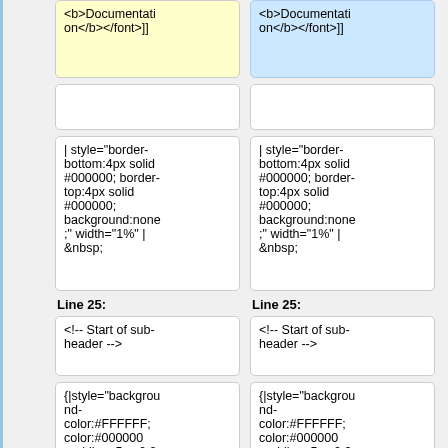<b>Documentation</b></font>]]
<b>Documentation</b></font>]]
| style="border-bottom:4px solid #000000; border-top:4px solid #000000; background:none;" width="1%" | &nbsp;
| style="border-bottom:4px solid #000000; border-top:4px solid #000000; background:none;" width="1%" | &nbsp;
Line 25:
Line 25:
<!-- Start of sub-header -->
<!-- Start of sub-header -->
{|style="background-color:#FFFFFF; color:#000000 padding: 5px 0 0
{|style="background-color:#FFFFFF; color:#000000 padding: 5px 0 0